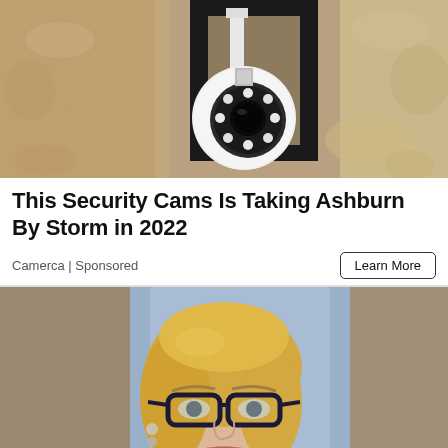[Figure (photo): Security camera mounted in a black bracket attached to a rough stucco/stone wall, white dome-style camera with LED ring visible]
This Security Cams Is Taking Ashburn By Storm in 2022
Camerca | Sponsored
[Figure (photo): Blonde woman wearing dark-framed glasses, appearing to speak, in front of a blue/tan studio background]